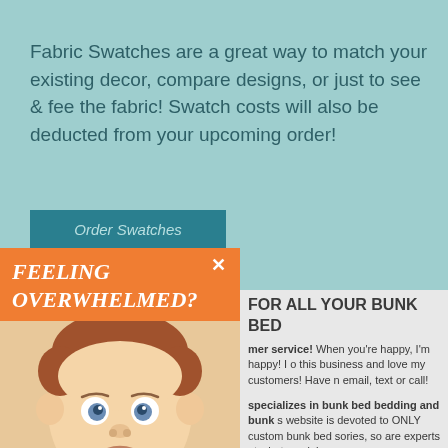Fabric Swatches are a great way to match your existing decor, compare designs, or just to see & fee the fabric! Swatch costs will also be deducted from your upcoming order!
[Figure (screenshot): Teal button labeled 'Order Swatches']
[Figure (infographic): Orange popup overlay with text 'FEELING OVERWHELMED?' and an X close button, a baby photo, and orange bottom section with text 'SWATCHES ARE AVAILABLE!']
FOR ALL YOUR BUNK BED
mer service! When you're happy, I'm happy! I o this business and love my customers! Have n email, text or call!
specializes in bunk bed bedding and bunk s website is devoted to ONLY custom bunk bed sories, so are experts at what we do!